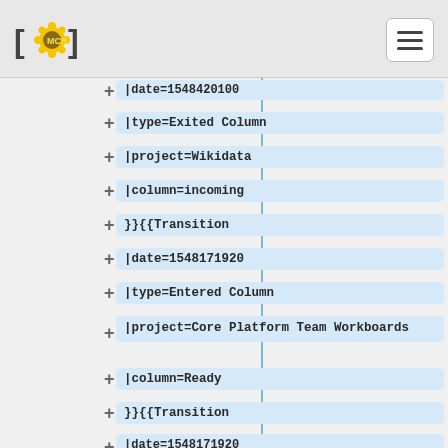[MCR] logo and hamburger menu
|date=1548420100 (truncated/cut off at top)
|type=Exited Column
|project=Wikidata
|column=incoming
}}{{Transition
|date=1548171920
|type=Entered Column
|project=Core Platform Team Workboards
|column=Ready
}}{{Transition
|date=1548171920
|type=Exited Column